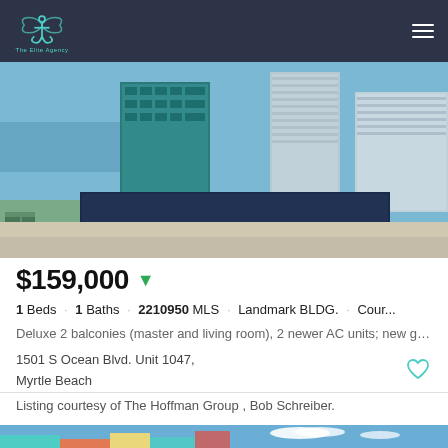[Figure (logo): The Elite Agency logo - anchor infinity symbol in teal on dark navy header bar]
[Figure (photo): Aerial or elevated view of tall commercial/residential buildings near ocean coastline, Myrtle Beach]
$159,000 ▼
1 Beds · 1 Baths · 2210950 MLS · Landmark BLDG. · Cour...
Deluxe 2 balconies (master and living room), 2 newer AC units; new granite co...
1501 S Ocean Blvd. Unit 1047,
Myrtle Beach
Listing courtesy of The Hoffman Group , Bob Schreiber.
[Figure (photo): Bottom strip showing colorful beach-side buildings under blue sky with clouds]